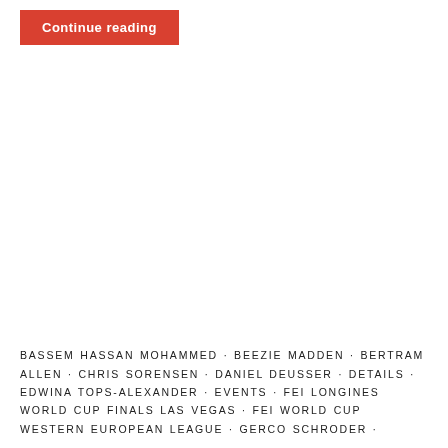[Figure (other): Red button with white bold text reading 'Continue reading']
BASSEM HASSAN MOHAMMED · BEEZIE MADDEN · BERTRAM ALLEN · CHRIS SORENSEN · DANIEL DEUSSER · DETAILS · EDWINA TOPS-ALEXANDER · EVENTS · FEI LONGINES WORLD CUP FINALS LAS VEGAS · FEI WORLD CUP WESTERN EUROPEAN LEAGUE · GERCO SCHRODER ·